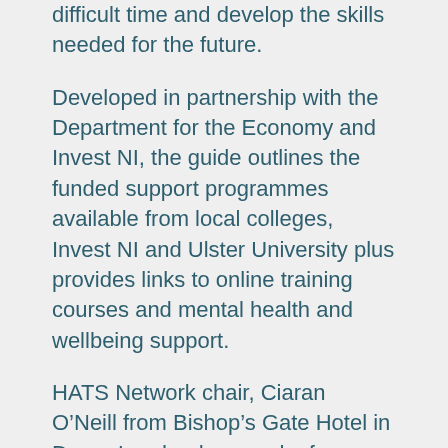difficult time and develop the skills needed for the future.
Developed in partnership with the Department for the Economy and Invest NI, the guide outlines the funded support programmes available from local colleges, Invest NI and Ulster University plus provides links to online training courses and mental health and wellbeing support.
HATS Network chair, Ciaran O’Neill from Bishop’s Gate Hotel in Derry-Londonderry and a former NI Hotels Federation (NIHF) president comments:
“As the industry builds back from the